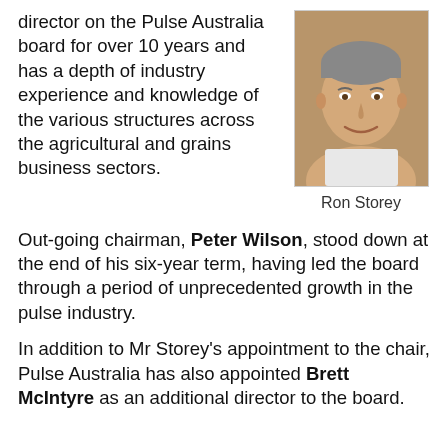director on the Pulse Australia board for over 10 years and has a depth of industry experience and knowledge of the various structures across the agricultural and grains business sectors.
[Figure (photo): Headshot photo of Ron Storey, a middle-aged man smiling, wearing a light-colored shirt]
Ron Storey
Out-going chairman, Peter Wilson, stood down at the end of his six-year term, having led the board through a period of unprecedented growth in the pulse industry.
In addition to Mr Storey's appointment to the chair, Pulse Australia has also appointed Brett McIntyre as an additional director to the board.